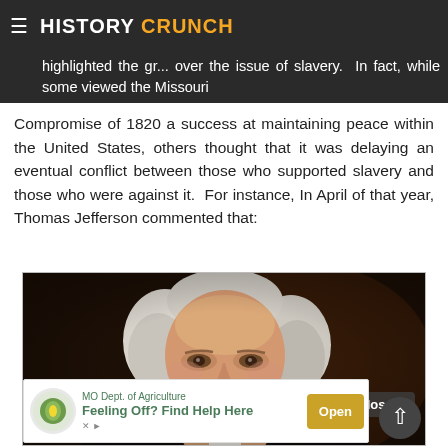HISTORY CRUNCH
highlighted the gr... over the issue of slavery.  In fact, while some viewed the Missouri Compromise of 1820 a success at maintaining peace within the United States, others thought that it was delaying an eventual conflict between those who supported slavery and those who were against it.  For instance, In April of that year, Thomas Jefferson commented that:
[Figure (photo): Portrait painting of Thomas Jefferson, close-up view showing his face and white powdered hair against a dark background. An advertisement overlay from MO Dept. of Agriculture reading 'Feeling Off? Find Help Here' with an Open button is visible at the bottom of the image.]